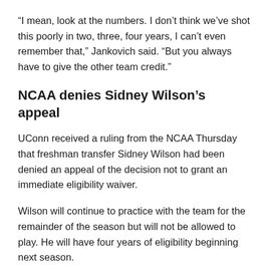“I mean, look at the numbers. I don’t think we’ve shot this poorly in two, three, four years, I can’t even remember that,” Jankovich said. “But you always have to give the other team credit.”
NCAA denies Sidney Wilson’s appeal
UConn received a ruling from the NCAA Thursday that freshman transfer Sidney Wilson had been denied an appeal of the decision not to grant an immediate eligibility waiver.
Wilson will continue to practice with the team for the remainder of the season but will not be allowed to play. He will have four years of eligibility beginning next season.
Wilson enrolled in 2017 summer classes at St John’s, but decided to transfer from the school in late August, picking